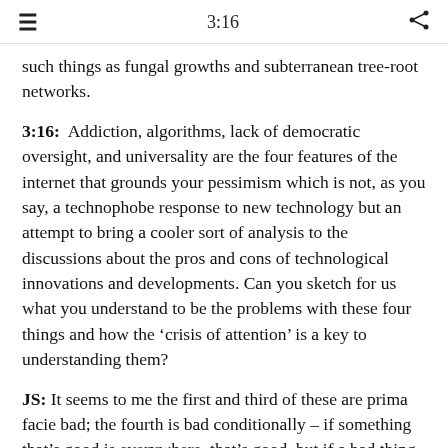3:16
such things as fungal growths and subterranean tree-root networks.
3:16:  Addiction, algorithms, lack of democratic oversight, and universality are the four features of the internet that grounds your pessimism which is not, as you say, a technophobe response to new technology but an attempt to bring a cooler sort of analysis to the discussions about the pros and cons of technological innovations and developments. Can you sketch for us what you understand to be the problems with these four things and how the ‘crisis of attention’ is a key to understanding them?
JS: It seems to me the first and third of these are prima facie bad; the fourth is bad conditionally – if something that’s good is everywhere, that’s good, but if a bad thing is everywhere, that’s bad. So let’s try to think for a second about why the ubiquity of algorithms in our lives is bad.